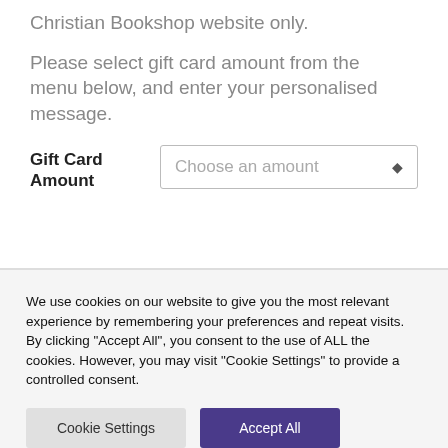Christian Bookshop website only.
Please select gift card amount from the menu below, and enter your personalised message.
Gift Card Amount   Choose an amount ◆
We use cookies on our website to give you the most relevant experience by remembering your preferences and repeat visits. By clicking "Accept All", you consent to the use of ALL the cookies. However, you may visit "Cookie Settings" to provide a controlled consent.
Cookie Settings   Accept All